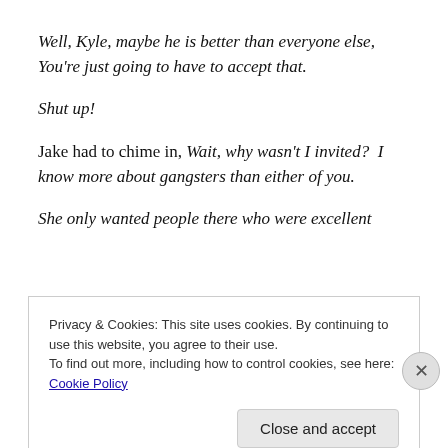Well, Kyle, maybe he is better than everyone else, You're just going to have to accept that.
Shut up!
Jake had to chime in, Wait, why wasn't I invited?  I know more about gangsters than either of you.
She only wanted people there who were excellent
Privacy & Cookies: This site uses cookies. By continuing to use this website, you agree to their use.
To find out more, including how to control cookies, see here: Cookie Policy
Close and accept